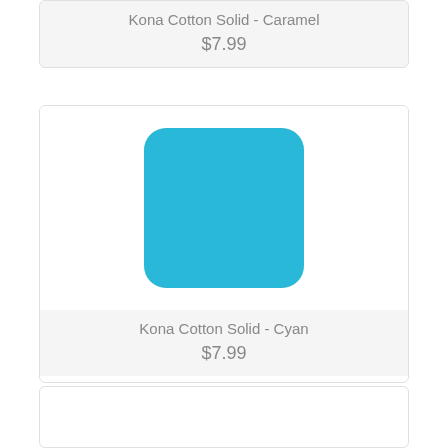Kona Cotton Solid - Caramel
$7.99
[Figure (illustration): Cyan colored square swatch with rounded corners representing Kona Cotton Solid - Cyan fabric color]
Kona Cotton Solid - Cyan
$7.99